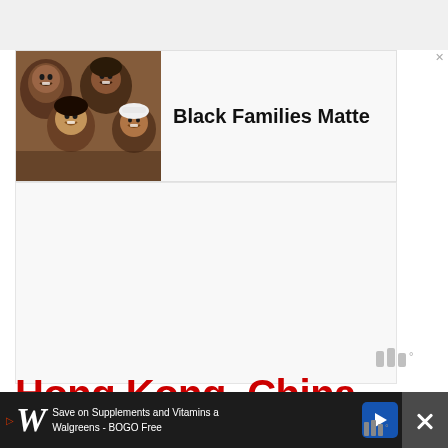[Figure (photo): Advertisement banner showing Black Families Matter with a photo of smiling Black family members]
[Figure (other): Large white/gray advertisement area below the Black Families Matter banner]
Hong Kong, China
A bustling and exciting harbour city, you'd be surprised how easy
[Figure (other): Bottom advertisement bar: Walgreens - Save on Supplements and Vitamins at Walgreens - BOGO Free, with close button]